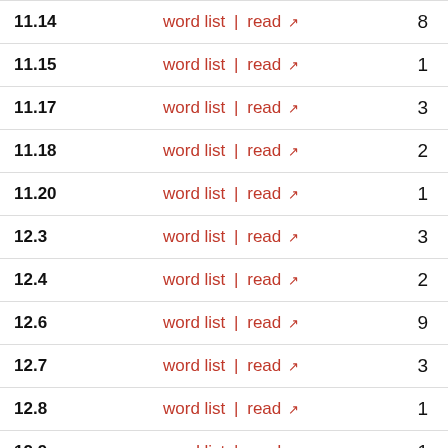| Section | Links | Count |
| --- | --- | --- |
| 11.14 | word list | read ↗ | 8 |
| 11.15 | word list | read ↗ | 1 |
| 11.17 | word list | read ↗ | 3 |
| 11.18 | word list | read ↗ | 2 |
| 11.20 | word list | read ↗ | 1 |
| 12.3 | word list | read ↗ | 3 |
| 12.4 | word list | read ↗ | 2 |
| 12.6 | word list | read ↗ | 9 |
| 12.7 | word list | read ↗ | 3 |
| 12.8 | word list | read ↗ | 1 |
| 12.9 | word list | read ↗ | 1 |
| 12.10 | word list | read ↗ | 2 |
| 12.11 | word list | read ↗ | 4 |
| 12.12 | word list | read ↗ | 6 |